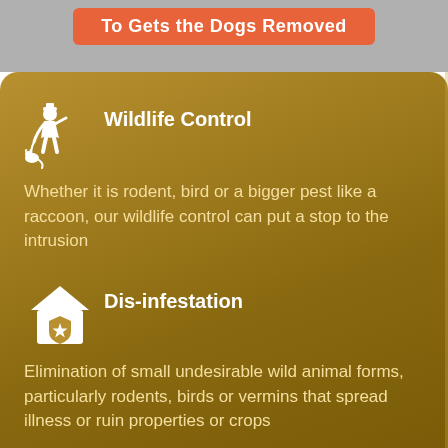To Gets the Dogs Removed
Wildlife Control
Whether it is rodent, bird or a bigger pest like a raccoon, our wildlife control can put a stop to the intrusion
Dis-infestation
Elimination of small undesirable wild animal forms, particularly rodents, birds or vermins that spread illness or ruin properties or crops